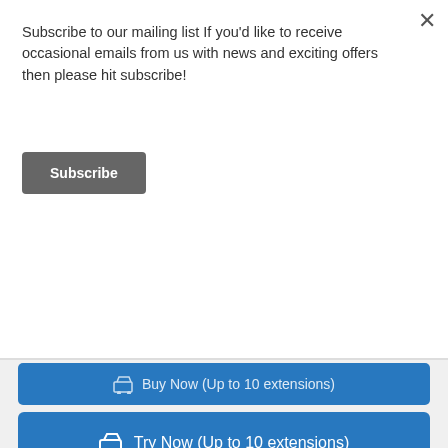Subscribe to our mailing list If you'd like to receive occasional emails from us with news and exciting offers then please hit subscribe!
Subscribe
Try Now (Up to 10 extensions)
Request Quote (11+ extensions)
Learn more about IVRs
LEAVE A MESSAGE